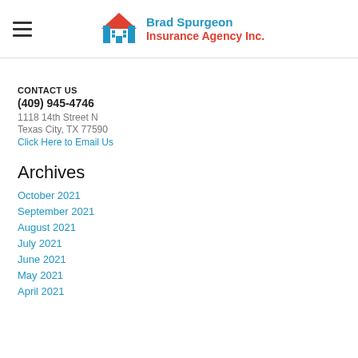Brad Spurgeon Insurance Agency Inc.
CONTACT US
(409) 945-4746
1118 14th Street N
Texas City, TX 77590
Click Here to Email Us
Archives
October 2021
September 2021
August 2021
July 2021
June 2021
May 2021
April 2021